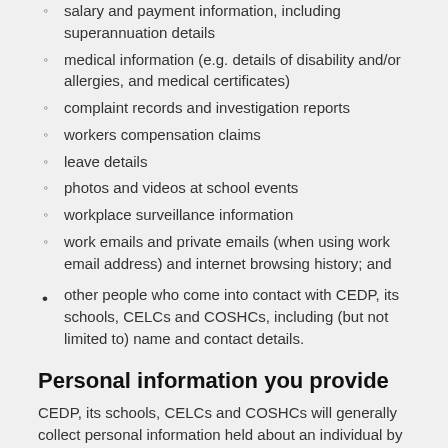salary and payment information, including superannuation details
medical information (e.g. details of disability and/or allergies, and medical certificates)
complaint records and investigation reports
workers compensation claims
leave details
photos and videos at school events
workplace surveillance information
work emails and private emails (when using work email address) and internet browsing history; and
other people who come into contact with CEDP, its schools, CELCs and COSHCs, including (but not limited to) name and contact details.
Personal information you provide
CEDP, its schools, CELCs and COSHCs will generally collect personal information held about an individual by way of forms filled out by parents or pupils, from face-to-face